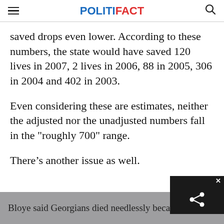POLITIFACT
saved drops even lower. According to these numbers, the state would have saved 120 lives in 2007, 2 lives in 2006, 88 in 2005, 306 in 2004 and 402 in 2003.
Even considering these are estimates, neither the adjusted nor the unadjusted numbers fall in the "roughly 700" range.
There’s another issue as well.
Bloye said Georgians died needlessly beca…